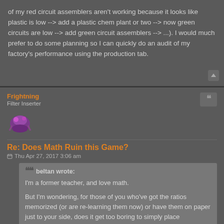of my red circuit assemblers aren't working because it looks like plastic is low --> add a plastic chem plant or two --> now green circuits are low --> add green circuit assemblers --> ...). I would much prefer to do some planning so I can quickly do an audit of my factory's performance using the production tab.
Frightning
Filter Inserter
Re: Does Math Ruin this Game?
Thu Apr 27, 2017 3:06 am
beltan wrote:
I'm a former teacher, and love math.

But I'm wondering, for those of you who've got the ratios memorized (or are re-learning them now) or have them on paper just to your side, does it get too boring to simply place everything in the perfect ratio for each